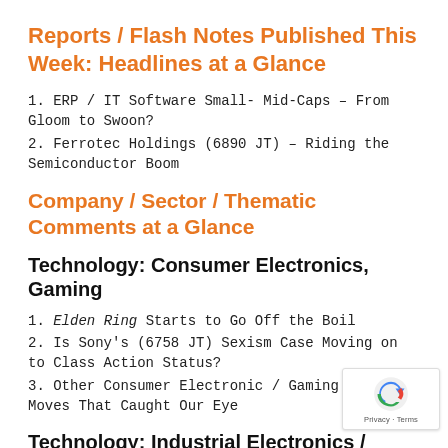Reports / Flash Notes Published This Week: Headlines at a Glance
1. ERP / IT Software Small- Mid-Caps – From Gloom to Swoon?
2. Ferrotec Holdings (6890 JT) – Riding the Semiconductor Boom
Company / Sector / Thematic Comments at a Glance
Technology: Consumer Electronics, Gaming
1. Elden Ring Starts to Go Off the Boil
2. Is Sony's (6758 JT) Sexism Case Moving on to Class Action Status?
3. Other Consumer Electronic / Gaming News & Moves That Caught Our Eye
Technology: Industrial Electronics /